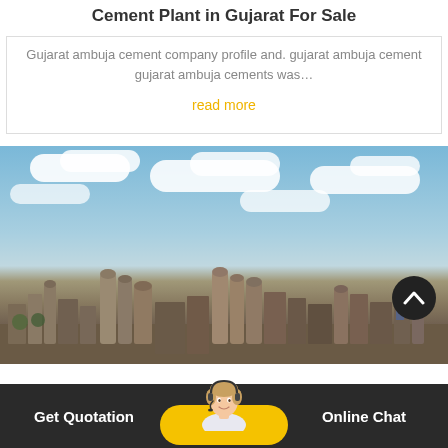Cement Plant in Gujarat For Sale
Gujarat ambuja cement company profile and. gujarat ambuja cement gujarat ambuja cements was…
read more
[Figure (photo): Aerial view of an industrial cement plant with silos and factory buildings under a partially cloudy blue sky]
Get Quotation   Online Chat